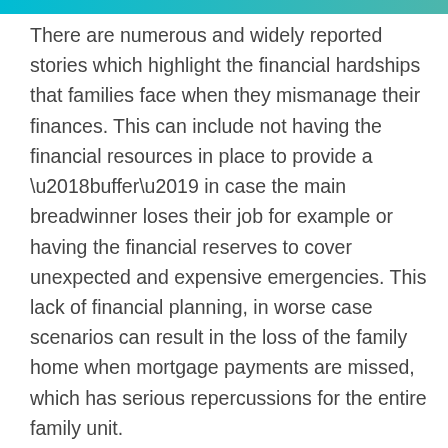There are numerous and widely reported stories which highlight the financial hardships that families face when they mismanage their finances. This can include not having the financial resources in place to provide a ‘buffer’ in case the main breadwinner loses their job for example or having the financial reserves to cover unexpected and expensive emergencies. This lack of financial planning, in worse case scenarios can result in the loss of the family home when mortgage payments are missed, which has serious repercussions for the entire family unit. Added to these daily pressures, families are also increasingly solely responsible for their long-term saving and pension planning. Despite these